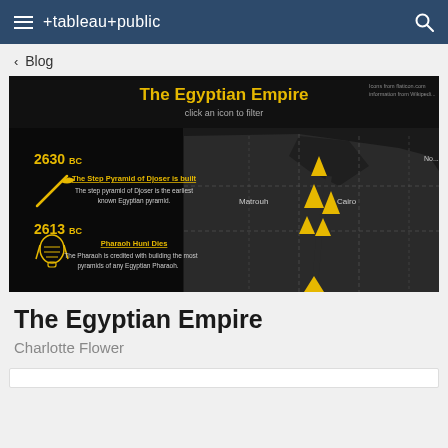tableau public
< Blog
[Figure (screenshot): A Tableau Public visualization titled 'The Egyptian Empire' showing a dark-themed interactive map of Egypt with yellow pyramid markers near Cairo and Matrouh regions. Left panel shows timeline events: '2630 BC' with a pickaxe icon and text about The Step Pyramid of Djoser being built ('The step pyramid of Djoser is the earliest known Egyptian pyramid.'), and '2613 BC' with a pharaoh mask icon and text about 'Pharaoh Huni Dies' ('The Pharaoh is credited with building the most pyramids of any Egyptian Pharaoh.'). The title says 'click an icon to filter'. Small text in top right reads 'Icons from flaticon.com information from Wikipedia'.]
The Egyptian Empire
Charlotte Flower